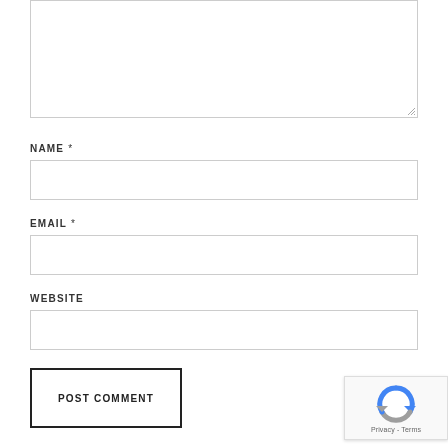[Figure (screenshot): Comment form textarea (partial, top cropped) with resize handle at bottom-right corner]
NAME *
[Figure (screenshot): Name input text field, empty, with border]
EMAIL *
[Figure (screenshot): Email input text field, empty, with border]
WEBSITE
[Figure (screenshot): Website input text field, empty, with border]
[Figure (screenshot): POST COMMENT submit button with dark border]
[Figure (logo): reCAPTCHA badge with Google reCAPTCHA logo and Privacy - Terms text]